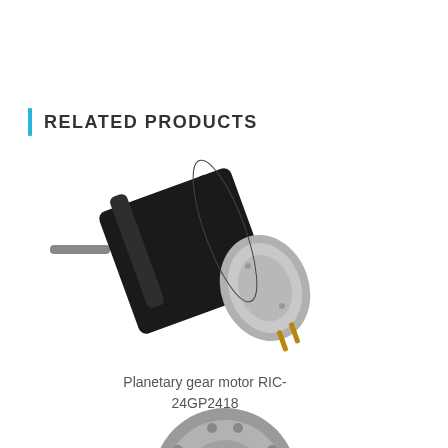RELATED PRODUCTS
[Figure (photo): Planetary gear motor RIC-24GP2418 shown at an angle, cylindrical black body with silver/grey end cap, with protruding shaft on one end and two connector pins on the other.]
Planetary gear motor RIC-24GP2418
[Figure (photo): Partial view of a second gear motor product, showing the grey circular face/end cap from a slight angle, partially visible at the bottom of the page.]